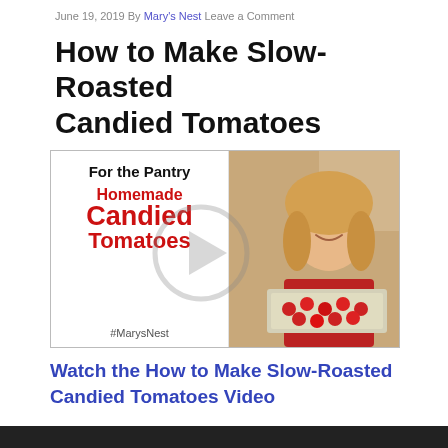June 19, 2019 By Mary's Nest Leave a Comment
How to Make Slow-Roasted Candied Tomatoes
[Figure (photo): Video thumbnail showing text 'For the Pantry / Homemade Candied Tomatoes / #MarysNest' on the left half (white background, red bold text) and a smiling woman holding a baking tray of roasted tomatoes on the right half, with a play button overlay in the center.]
Watch the How to Make Slow-Roasted Candied Tomatoes Video